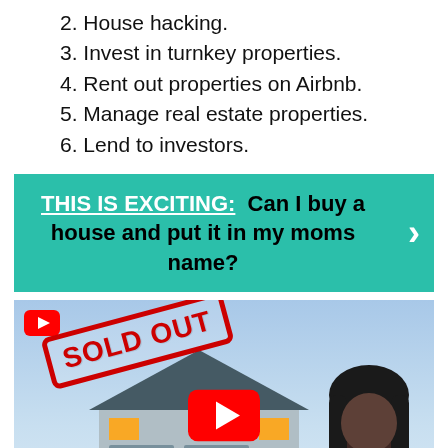2. House hacking.
3. Invest in turnkey properties.
4. Rent out properties on Airbnb.
5. Manage real estate properties.
6. Lend to investors.
THIS IS EXCITING: Can I buy a house and put it in my moms name?
[Figure (photo): YouTube video thumbnail showing a house with a SOLD OUT stamp overlay, a YouTube play button, and a woman in the foreground]